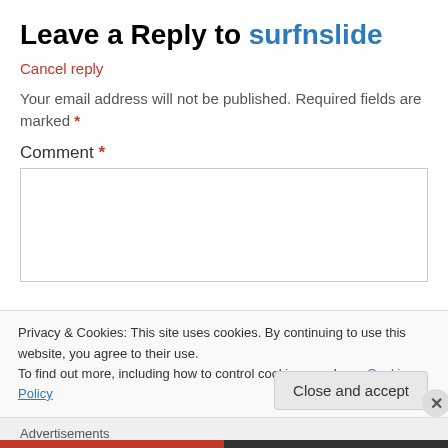Leave a Reply to surfnslide
Cancel reply
Your email address will not be published. Required fields are marked *
Comment *
Privacy & Cookies: This site uses cookies. By continuing to use this website, you agree to their use. To find out more, including how to control cookies, see here: Cookie Policy
Close and accept
Advertisements